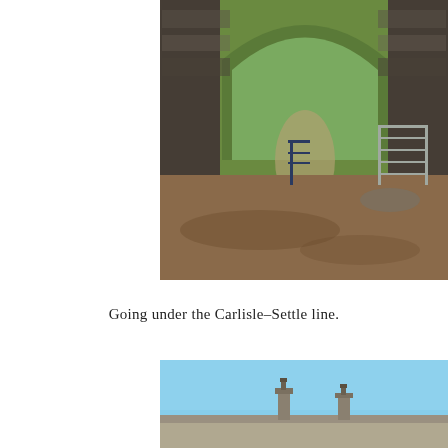[Figure (photo): A stone railway viaduct arch viewed from below, with a dirt path passing underneath. Metal farm gates are visible inside the arch, and green trees and shrubs are visible through the opening. The foreground shows a wide earthen area with dappled shadows.]
Going under the Carlisle–Settle line.
[Figure (photo): A low building roofline with two chimney pots visible against a clear blue sky, with the top of a stone or rendered wall in the foreground.]